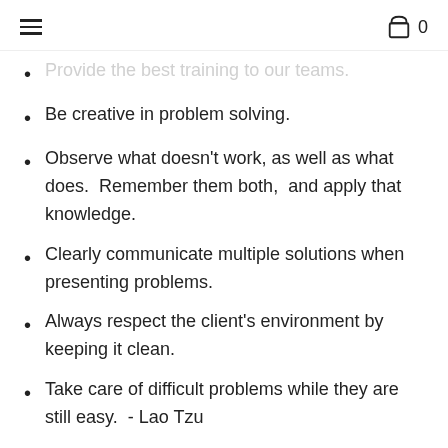≡  🛍 0
Provide the best training to our teams.
Be creative in problem solving.
Observe what doesn't work, as well as what does.  Remember them both,  and apply that knowledge.
Clearly communicate multiple solutions when presenting problems.
Always respect the client's environment by keeping it clean.
Take care of difficult problems while they are still easy.  - Lao Tzu
Earn the opportunity to be the first company